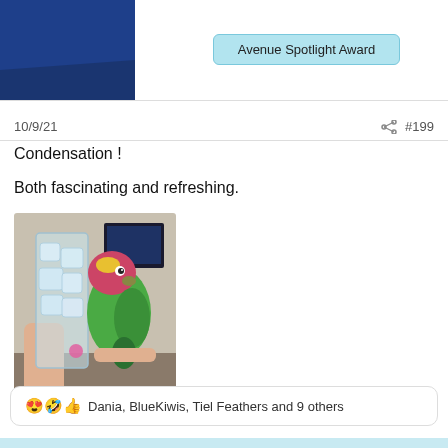[Figure (other): Blue block with darker blue triangle at bottom, forum header/logo area]
Avenue Spotlight Award
10/9/21  #199
Condensation !
Both fascinating and refreshing.
[Figure (photo): A colorful parrot (caique) perched next to a glass filled with ice, being held by a person. A TV screen is visible in the background.]
😍🤣👍 Dania, BlueKiwis, Tiel Feathers and 9 others